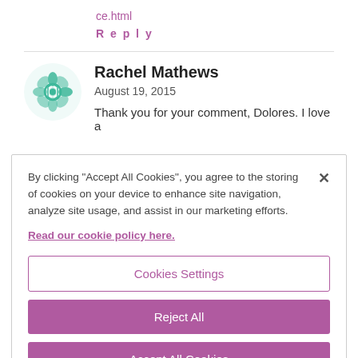ce.html
Reply
Rachel Mathews
August 19, 2015
Thank you for your comment, Dolores. I love a
By clicking “Accept All Cookies”, you agree to the storing of cookies on your device to enhance site navigation, analyze site usage, and assist in our marketing efforts. Read our cookie policy here.
Cookies Settings
Reject All
Accept All Cookies